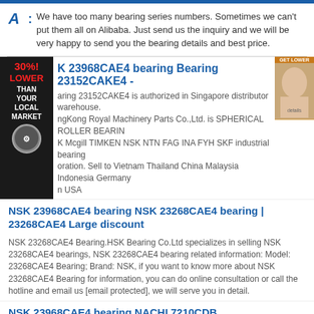A: We have too many bearing series numbers. Sometimes we can't put them all on Alibaba. Just send us the inquiry and we will be very happy to send you the bearing details and best price.
K 23968CAE4 bearing Bearing 23152CAKE4 -
aring 23152CAKE4 is authorized in Singapore distributor warehouse. ngKong Royal Machinery Parts Co.,Ltd. is SPHERICAL ROLLER BEARIN K Mcgill TIMKEN NSK NTN FAG INA FYH SKF industrial bearing oration. Sell to Vietnam Thailand China Malaysia Indonesia Germany n USA
NSK 23968CAE4 bearing NSK 23268CAE4 bearing | 23268CAE4 Large discount
NSK 23268CAE4 Bearing.HSK Bearing Co.Ltd specializes in selling NSK 23268CAE4 bearings, NSK 23268CAE4 bearing related information: Model: 23268CAE4 Bearing; Brand: NSK, if you want to know more about NSK 23268CAE4 Bearing for information, you can do online consultation or call the hotline and email us [email protected], we will serve you in detail.
NSK 23968CAE4 bearing NACHI 7210CDB bearing NTN 7203B bearing
50x90x20 NACHI 7210CDB bearing for sale. NTN 7238CD Angular Contact